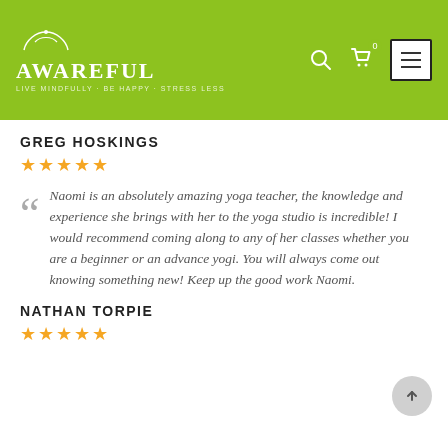Awareful — navigation header with logo, search, cart, and menu icons
GREG HOSKINGS
★★★★★ (5 stars)
Naomi is an absolutely amazing yoga teacher, the knowledge and experience she brings with her to the yoga studio is incredible! I would recommend coming along to any of her classes whether you are a beginner or an advance yogi. You will always come out knowing something new! Keep up the good work Naomi.
NATHAN TORPIE
★★★★★ (5 stars)